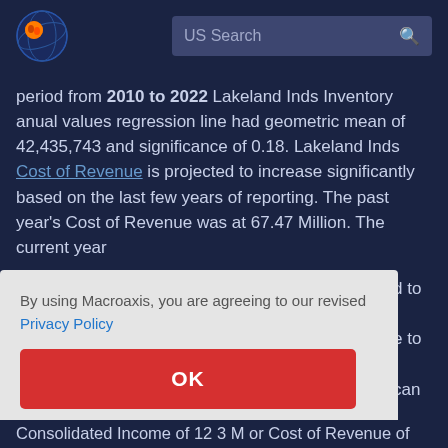[Figure (logo): Macroaxis globe logo with orange and blue colors]
US Search
period from 2010 to 2022 Lakeland Inds Inventory anual values regression line had geometric mean of 42,435,743 and significance of 0.18. Lakeland Inds Cost of Revenue is projected to increase significantly based on the last few years of reporting. The past year's Cost of Revenue was at 67.47 Million. The current year [...]d to [...] e to [...] can [...] g
By using Macroaxis, you are agreeing to our revised Privacy Policy
OK
Consolidated Income of 12 3 M or Cost of Revenue of